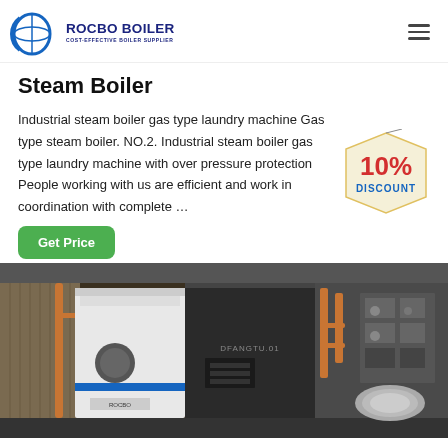ROCBO BOILER - COST-EFFECTIVE BOILER SUPPLIER
Steam Boiler
Industrial steam boiler gas type laundry machine Gas type steam boiler. NO.2. Industrial steam boiler gas type laundry machine with over pressure protection People working with us are efficient and work in coordination with complete …
[Figure (infographic): 10% DISCOUNT badge in red and blue text on a tag shape]
[Figure (photo): Industrial steam boiler equipment inside a factory building, showing large white and dark boiler units with pipes and control panels]